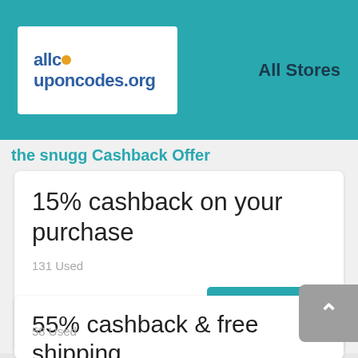[Figure (logo): allcouponcodes.org logo in white box on teal header, with All Stores text to the right]
the snugg Cashback Offer
15% cashback on your purchase
131 Used
15%Off
Get Deal
55% cashback & free shipping
58 Used